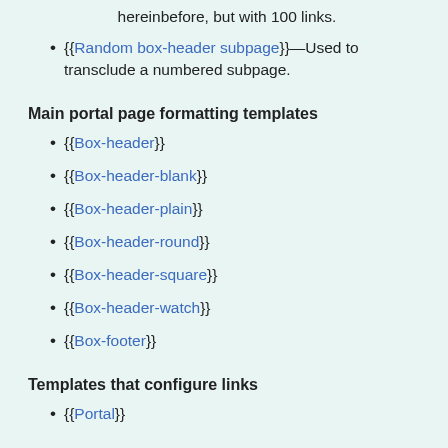hereinbefore, but with 100 links.
{{Random box-header subpage}}—Used to transclude a numbered subpage.
Main portal page formatting templates
{{Box-header}}
{{Box-header-blank}}
{{Box-header-plain}}
{{Box-header-round}}
{{Box-header-square}}
{{Box-header-watch}}
{{Box-footer}}
Templates that configure links
{{Portal}}